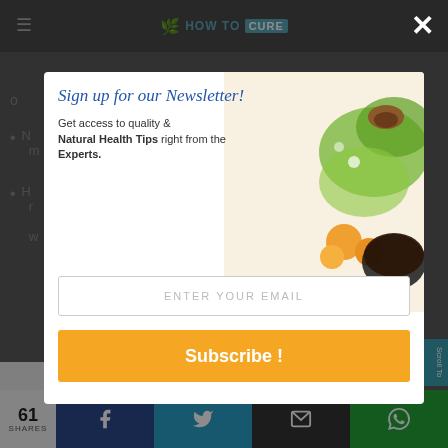HOW TO CURE
o
N... ur m...
H... r... w...
[Figure (screenshot): Newsletter signup modal popup with food image background, email input, and Subscribe button]
Sign up for our Newsletter!
Get access to quality & Natural Health Tips right from the Experts.
ENTER YOUR EMAIL
Subscribe !
J'ACCEPTE DE COOKIES
61 SHARES